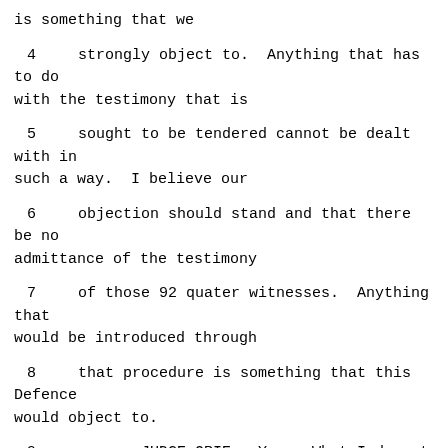is something that we
4    strongly object to.  Anything that has to do with the testimony that is
5    sought to be tendered cannot be dealt with in such a way.  I believe our
6    objection should stand and that there be no admittance of the testimony
7    of those 92 quater witnesses.  Anything that would be introduced through
8    that procedure is something that this Defence would object to.
9              JUDGE ORIE:  Yes.  What I do not fully see is how that justifies